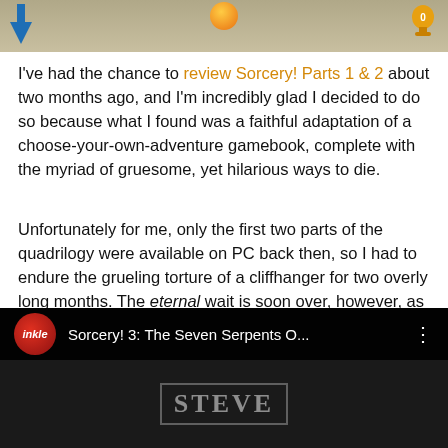[Figure (screenshot): Top portion of a game screenshot showing a burlap/sandy background with a blue icon on the left, an orange ball in the center, and a gold trophy/icon on the right.]
I've had the chance to review Sorcery! Parts 1 & 2 about two months ago, and I'm incredibly glad I decided to do so because what I found was a faithful adaptation of a choose-your-own-adventure gamebook, complete with the myriad of gruesome, yet hilarious ways to die.
Unfortunately for me, only the first two parts of the quadrilogy were available on PC back then, so I had to endure the grueling torture of a cliffhanger for two overly long months. The eternal wait is soon over, however, as Part 3 of Sorcery! has been set to arrive on April 5th. Here's the trailer giving you a glimpse of all of the areas you'll be able to meet an untimely end at:
[Figure (screenshot): YouTube video embed showing inkle logo (red circle) with title 'Sorcery! 3: The Seven Serpents O...' and three-dot menu. Below shows dark background with stylized 'STEVE' text.]